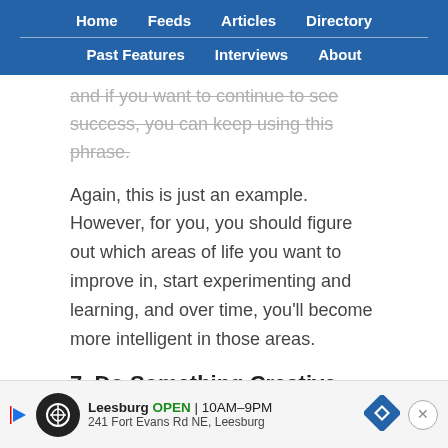Home  Feeds  Articles  Directory  Past Features  Interviews  About
and if you want to continue to see success, you can keep using this phrase.
Again, this is just an example. However, for you, you should figure out which areas of life you want to improve in, start experimenting and learning, and over time, you'll become more intelligent in those areas.
7. Do Something Creative Every Day
Becoming smarter involves activating different parts of your brain, including your creative intelligence. Creative
[Figure (other): Advertisement banner for Leesburg showing store hours 10AM-9PM and address 241 Fort Evans Rd NE, Leesburg]